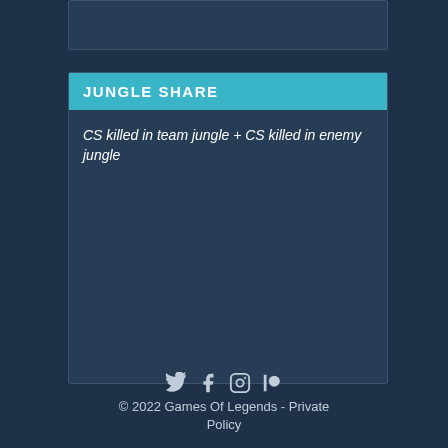JUNGLE SHARE
CS killed in team jungle + CS killed in enemy jungle
© 2022 Games Of Legends - Private Policy